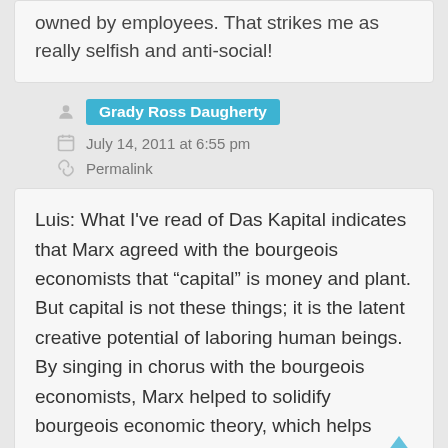owned by employees. That strikes me as really selfish and anti-social!
Grady Ross Daugherty
July 14, 2011 at 6:55 pm
Permalink
Luis: What I've read of Das Kapital indicates that Marx agreed with the bourgeois economists that “capital” is money and plant. But capital is not these things; it is the latent creative potential of laboring human beings. By singing in chorus with the bourgeois economists, Marx helped to solidify bourgeois economic theory, which helps keep the